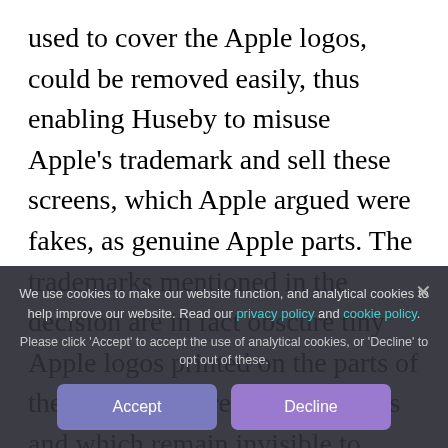used to cover the Apple logos, could be removed easily, thus enabling Huseby to misuse Apple's trademark and sell these screens, which Apple argued were fakes, as genuine Apple parts. The trademarks mentioned in the decision are in fact obscure tiny Apple logos printed on the parts of the screen that are inside iPhones and which remain invisible to consumers. The concealment of logos with ink is a practice often used by refurbishing companies to avoid violating trademark laws and to create a no-name spare part.